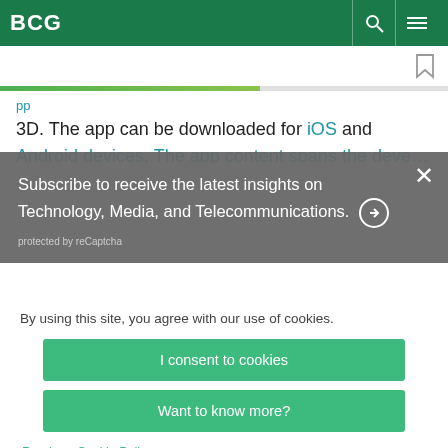BCG
3D. The app can be downloaded for iOS and Android devices. The app content spans the development of
Subscribe to receive the latest insights on Technology, Media, and Telecommunications. → protected by reCaptcha
By using this site, you agree with our use of cookies.
I consent to cookies
Want to know more?
Read our Cookie Policy